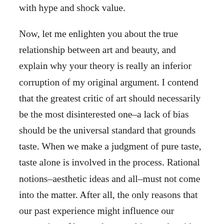with hype and shock value.
Now, let me enlighten you about the true relationship between art and beauty, and explain why your theory is really an inferior corruption of my original argument. I contend that the greatest critic of art should necessarily be the most disinterested one–a lack of bias should be the universal standard that grounds taste. When we make a judgment of pure taste, taste alone is involved in the process. Rational notions–aesthetic ideas and all–must not come into the matter. After all, the only reasons that our past experience might influence our perception of beauty have nothing to do with our inherent faculties of sense